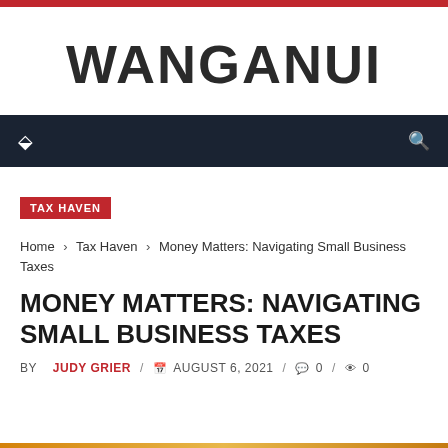WANGANUI
TAX HAVEN
Home › Tax Haven › Money Matters: Navigating Small Business Taxes
MONEY MATTERS: NAVIGATING SMALL BUSINESS TAXES
BY JUDY GRIER / AUGUST 6, 2021 / 0 / 0